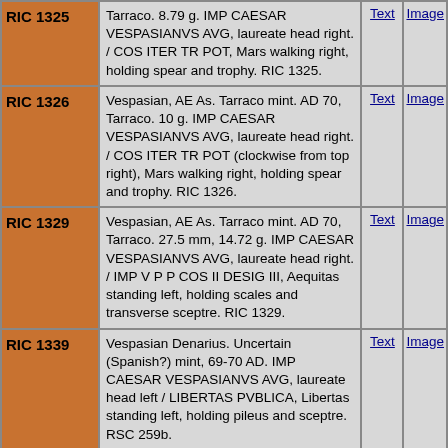| RIC | Description | Text | Image |
| --- | --- | --- | --- |
| RIC 1325 | Tarraco. 8.79 g. IMP CAESAR VESPASIANVS AVG, laureate head right. / COS ITER TR POT, Mars walking right, holding spear and trophy. RIC 1325. | Text | Image |
| RIC 1326 | Vespasian, AE As. Tarraco mint. AD 70, Tarraco. 10 g. IMP CAESAR VESPASIANVS AVG, laureate head right. / COS ITER TR POT (clockwise from top right), Mars walking right, holding spear and trophy. RIC 1326. | Text | Image |
| RIC 1329 | Vespasian, AE As. Tarraco mint. AD 70, Tarraco. 27.5 mm, 14.72 g. IMP CAESAR VESPASIANVS AVG, laureate head right. / IMP V P P COS II DESIG III, Aequitas standing left, holding scales and transverse sceptre. RIC 1329. | Text | Image |
| RIC 1339 | Vespasian Denarius. Uncertain (Spanish?) mint, 69-70 AD. IMP CAESAR VESPASIANVS AVG, laureate head left / LIBERTAS PVBLICA, Libertas standing left, holding pileus and sceptre. RSC 259b. | Text | Image |
| RIC 1339a | Vespasian Denarius. Uncertain Spanish mint, 69-70 AD. IMP CAESAR VESPASIANVS AVG, laureate head left / LIBERTAS PVBLICA, Libertas standing | Text | Image |